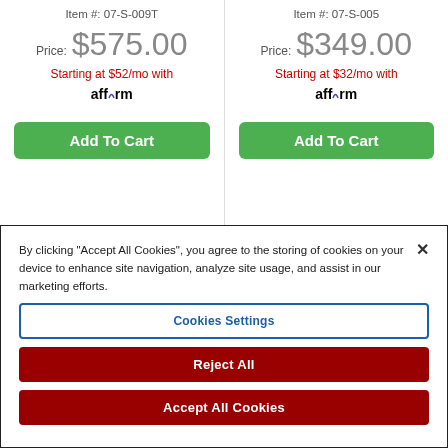Item #: 07-S-009T
Price: $575.00
Starting at $52/mo with affirm
Add To Cart
Item #: 07-S-005
Price: $349.00
Starting at $32/mo with affirm
Add To Cart
By clicking “Accept All Cookies”, you agree to the storing of cookies on your device to enhance site navigation, analyze site usage, and assist in our marketing efforts.
Cookies Settings
Reject All
Accept All Cookies